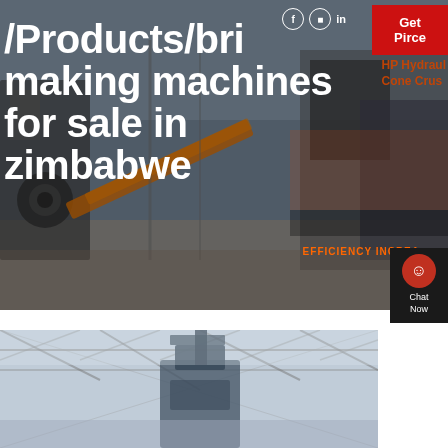[Figure (photo): Industrial brick-making / crushing machinery facility background image with orange conveyor belts and industrial equipment]
/Products/bri… making machines for sale in zimbabwe
Get Pirce
Chat Now
EFFICIENCY INCREA…
HP Hydraulic Cone Cru…
[Figure (photo): Interior of an industrial building or factory with roof trusses visible, partially showing machinery]